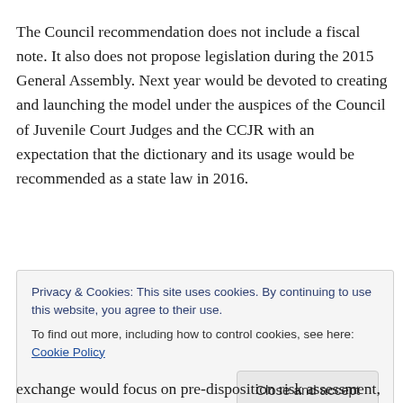The Council recommendation does not include a fiscal note. It also does not propose legislation during the 2015 General Assembly. Next year would be devoted to creating and launching the model under the auspices of the Council of Juvenile Court Judges and the CCJR with an expectation that the dictionary and its usage would be recommended as a state law in 2016.
Privacy & Cookies: This site uses cookies. By continuing to use this website, you agree to their use. To find out more, including how to control cookies, see here: Cookie Policy
exchange would focus on pre-disposition risk assessment,